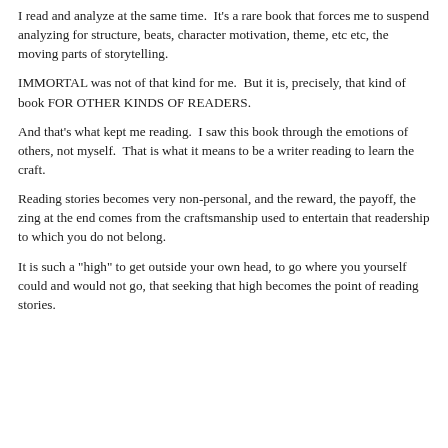I read and analyze at the same time.  It's a rare book that forces me to suspend analyzing for structure, beats, character motivation, theme, etc etc, the moving parts of storytelling.
IMMORTAL was not of that kind for me.  But it is, precisely, that kind of book FOR OTHER KINDS OF READERS.
And that's what kept me reading.  I saw this book through the emotions of others, not myself.  That is what it means to be a writer reading to learn the craft.
Reading stories becomes very non-personal, and the reward, the payoff, the zing at the end comes from the craftsmanship used to entertain that readership to which you do not belong.
It is such a "high" to get outside your own head, to go where you yourself could and would not go, that seeking that high becomes the point of reading stories.